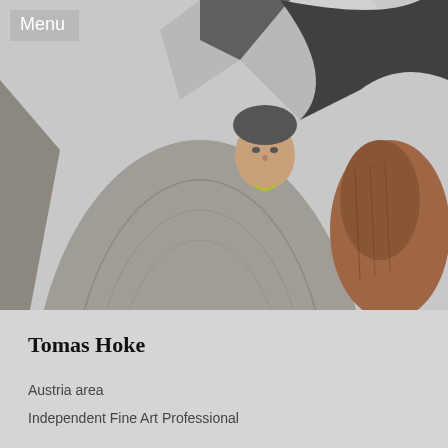[Figure (photo): A person photographed from below looking up at large abstract sculptures made of stone and shiny metal. The scene has a grey sky background.]
Menu
Tomas Hoke
Austria area
Independent Fine Art Professional